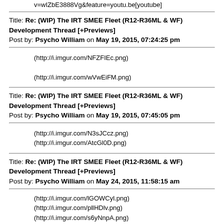v=wIZbE3888Vg&feature=youtu.be[youtube]
Title: Re: (WIP) The IRT SMEE Fleet (R12-R36ML & WF) Development Thread [+Previews]
Post by: Psycho William on May 19, 2015, 07:24:25 pm
(http://i.imgur.com/NFZFIEc.png)
(http://i.imgur.com/wVwEiFM.png)
Title: Re: (WIP) The IRT SMEE Fleet (R12-R36ML & WF) Development Thread [+Previews]
Post by: Psycho William on May 19, 2015, 07:45:05 pm
(http://i.imgur.com/N3sJCcz.png)
(http://i.imgur.com/AtcGl0D.png)
Title: Re: (WIP) The IRT SMEE Fleet (R12-R36ML & WF) Development Thread [+Previews]
Post by: Psycho William on May 24, 2015, 11:58:15 am
(http://i.imgur.com/lGOWCyl.png)
(http://i.imgur.com/pllHDlv.png)
(http://i.imgur.com/s6yNnpA.png)
(http://i.imgur.com/jpWD2PE.png)